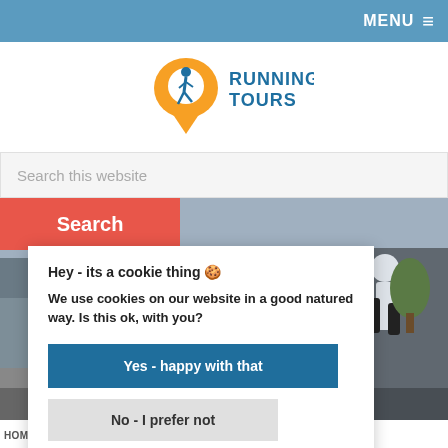MENU ≡
[Figure (logo): Go Running Tours logo — orange G with blue runner figure and orange location pin, with RUNNING TOURS text in blue]
Search this website
Search
[Figure (photo): Background photo of runners jogging in a city street with buildings visible. Partial text 'IPS' visible (part of 'LOCAL TIPS') in white bold overlay text.]
Hey - its a cookie thing 🍪
We use cookies on our website in a good natured way. Is this ok, with you?
Yes - happy with that
No - I prefer not
HOME / BLOG / PORTO LOCAL TIPS